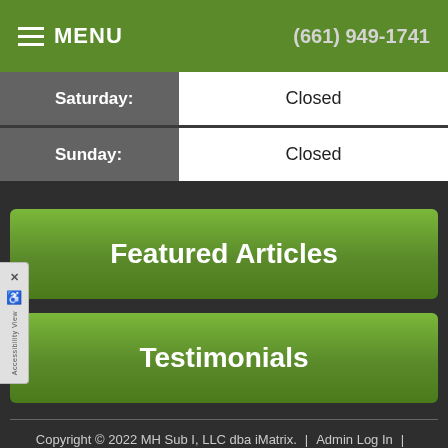MENU | (661) 949-1741
| Day | Hours |
| --- | --- |
| Saturday: | Closed |
| Sunday: | Closed |
Featured Articles
Testimonials
Copyright © 2022 MH Sub I, LLC dba iMatrix. | Admin Log In | Site Map